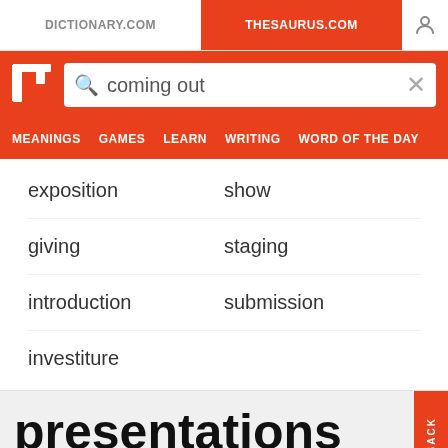DICTIONARY.COM | THESAURUS.COM
[Figure (screenshot): Thesaurus.com website screenshot showing search for 'coming out' with synonym results: exposition, show, giving, staging, introduction, submission, investiture. Bottom section shows 'presentations' heading with subtitle 'performance; something given, displayed']
exposition
show
giving
staging
introduction
submission
investiture
presentations
performance; something given, displayed